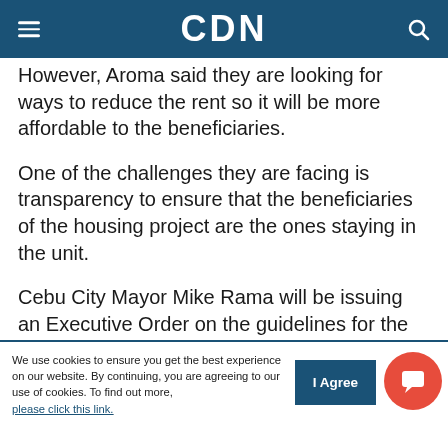CDN
However, Aroma said they are looking for ways to reduce the rent so it will be more affordable to the beneficiaries.
One of the challenges they are facing is transparency to ensure that the beneficiaries of the housing project are the ones staying in the unit.
Cebu City Mayor Mike Rama will be issuing an Executive Order on the guidelines for the assignment of the units as well as the measure set in place to avoid beneficiaries from abusing the
We use cookies to ensure you get the best experience on our website. By continuing, you are agreeing to our use of cookies. To find out more, please click this link.